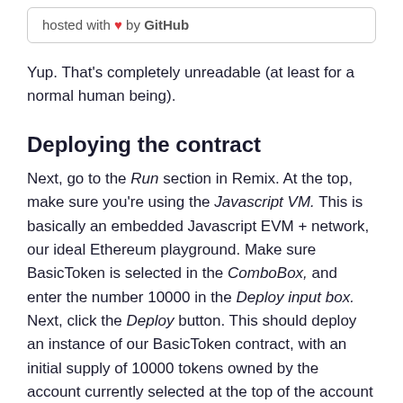hosted with ❤ by GitHub
Yup. That's completely unreadable (at least for a normal human being).
Deploying the contract
Next, go to the Run section in Remix. At the top, make sure you're using the Javascript VM. This is basically an embedded Javascript EVM + network, our ideal Ethereum playground. Make sure BasicToken is selected in the ComboBox, and enter the number 10000 in the Deploy input box. Next, click the Deploy button. This should deploy an instance of our BasicToken contract, with an initial supply of 10000 tokens owned by the account currently selected at the top of the account ComboBox, which will hold the totality of our token supply.